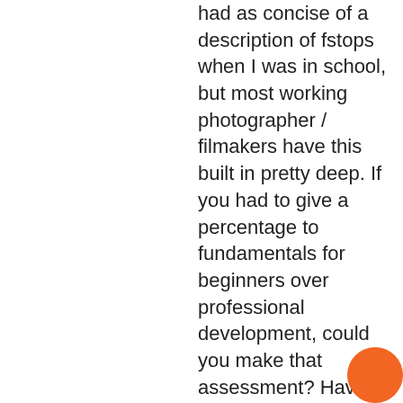had as concise of a description of fstops when I was in school, but most working photographer / filmakers have this built in pretty deep. If you had to give a percentage to fundamentals for beginners over professional development, could you make that assessment? Having said that, your course is incredibly affordable..., I've paid more at photo plus to hear photo
[Figure (illustration): Orange circle partially visible in the bottom-right corner of the page]